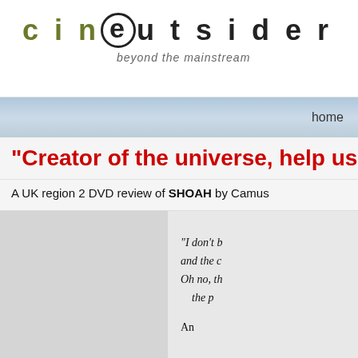cinoutsider beyond the mainstream
home
"Creator of the universe, help us..."
A UK region 2 DVD review of SHOAH by Camus
"I don't b and the c Oh no, th the p An